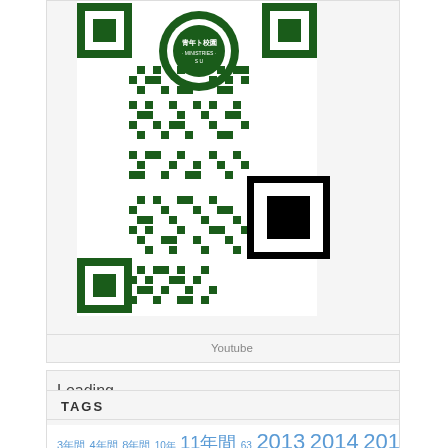[Figure (other): QR code with green pattern and a logo for Ministries, with a black square in lower right corner]
Youtube
Loading
TAGS
3年間　4年間　8年間　10年　11年間　63　2013　2014　2015